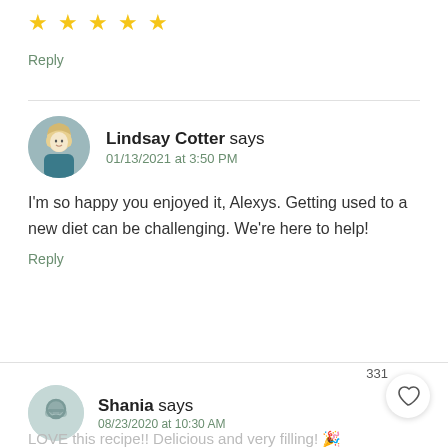★★★★★ (5 stars)
Reply
Lindsay Cotter says
01/13/2021 at 3:50 PM
I'm so happy you enjoyed it, Alexys. Getting used to a new diet can be challenging. We're here to help!
Reply
331
Shania says
08/23/2020 at 10:30 AM
LOVE this recipe!! Delicious and very filling!